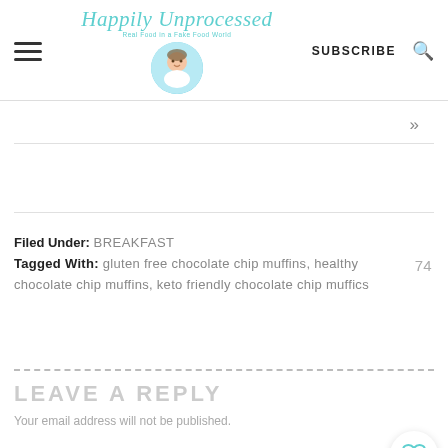Happily Unprocessed — Real Food in a Fake Food World — SUBSCRIBE
»
Filed Under: BREAKFAST
Tagged With: gluten free chocolate chip muffins, healthy chocolate chip muffins, keto friendly chocolate chip muffics   74
LEAVE A REPLY
Your email address will not be published.